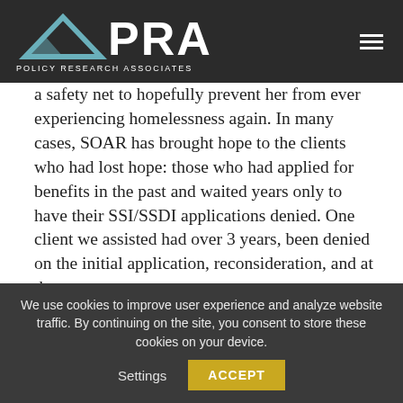APRA POLICY RESEARCH ASSOCIATES
a safety net to hopefully prevent her from ever experiencing homelessness again. In many cases, SOAR has brought hope to the clients who had lost hope: those who had applied for benefits in the past and waited years only to have their SSI/SSDI applications denied. One client we assisted had over 3 years, been denied on the initial application, reconsideration, and at the
We use cookies to improve user experience and analyze website traffic. By continuing on the site, you consent to store these cookies on your device. Settings ACCEPT